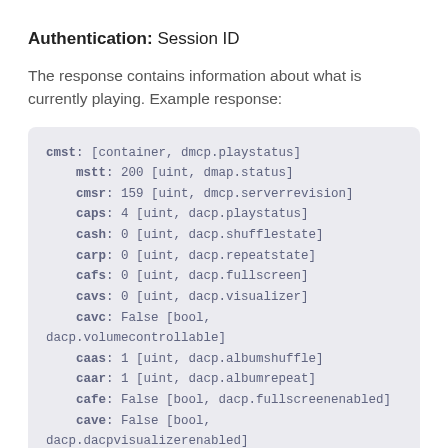Authentication: Session ID
The response contains information about what is currently playing. Example response:
[Figure (screenshot): Code block showing a DACP protocol response structure with fields: cmst (container, dmcp.playstatus), mstt: 200 [uint, dmap.status], cmsr: 159 [uint, dmcp.serverrevision], caps: 4 [uint, dacp.playstatus], cash: 0 [uint, dacp.shufflestate], carp: 0 [uint, dacp.repeatstate], cafs: 0 [uint, dacp.fullscreen], cavs: 0 [uint, dacp.visualizer], cavc: False [bool, dacp.volumecontrollable], caas: 1 [uint, dacp.albumshuffle], caar: 1 [uint, dacp.albumrepeat], cafe: False [bool, dacp.fullscreenenabled], cave: False [bool, dacp.dacpvisualizerenabled]]